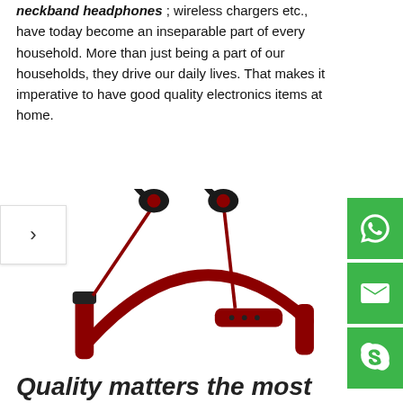neckband headphones; wireless chargers etc., have today become an inseparable part of every household. More than just being a part of our households, they drive our daily lives. That makes it imperative to have good quality electronics items at home.
[Figure (photo): Red and black wireless neckband headphones with ear hooks and inline controls, product photo on white background]
Quality matters the most